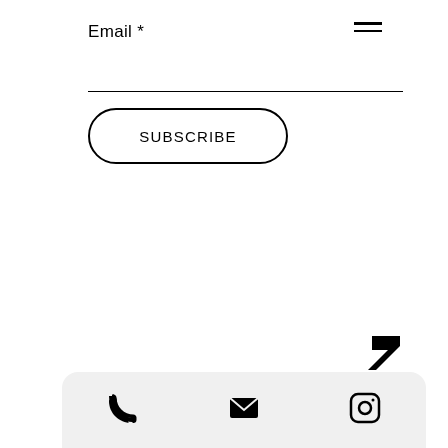Email *
[Figure (other): Hamburger menu icon (two horizontal lines)]
[Figure (other): Horizontal input field underline]
SUBSCRIBE
[Figure (other): Back/return arrow icon pointing upper-left]
[Figure (other): Footer bar with phone, email, and Instagram icons]